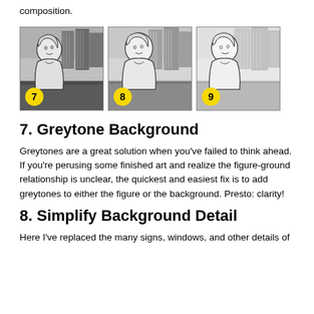composition.
[Figure (illustration): Three sequential comic-style panels numbered 7, 8, and 9, each showing a woman with wavy hair in front of a city building background. Panel 7 shows darker greytone background, panel 8 shows a medium greytone version, panel 9 shows a simplified lighter background version.]
7. Greytone Background
Greytones are a great solution when you've failed to think ahead. If you're perusing some finished art and realize the figure-ground relationship is unclear, the quickest and easiest fix is to add greytones to either the figure or the background. Presto: clarity!
8. Simplify Background Detail
Here I've replaced the many signs, windows, and other details of